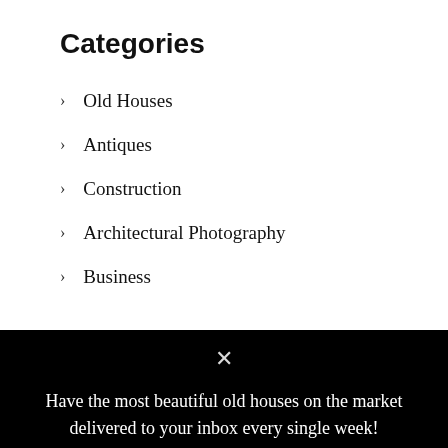Categories
> Old Houses
> Antiques
> Construction
> Architectural Photography
> Business
Have the most beautiful old houses on the market delivered to your inbox every single week!
Enter your email below to receive our latest listings, featured favorites and more 🔔!
Email | SUBSCRIBE